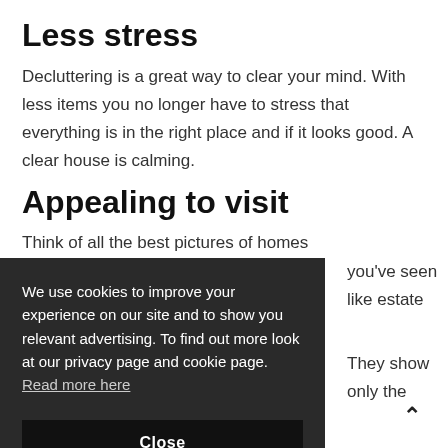Less stress
Decluttering is a great way to clear your mind. With less items you no longer have to stress that everything is in the right place and if it looks good. A clear house is calming.
Appealing to visit
Think of all the best pictures of homes you've seen like estate ... They show only the ... rtwork, fashionable ... r house. Appealing to
We use cookies to improve your experience on our site and to show you relevant advertising. To find out more look at our privacy page and cookie page. Read more here
Clutter...